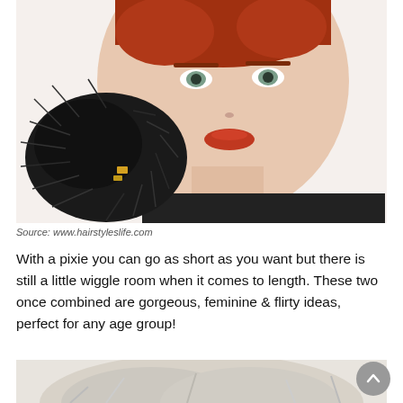[Figure (photo): Woman with short red pixie cut wearing black top, holding a black feathery accessory near her face, bold orange-red lips, blue-green eyes, white background.]
Source: www.hairstyleslife.com
With a pixie you can go as short as you want but there is still a little wiggle room when it comes to length. These two once combined are gorgeous, feminine & flirty ideas, perfect for any age group!
[Figure (photo): Partial bottom image showing light-colored hair, cropped at page bottom.]